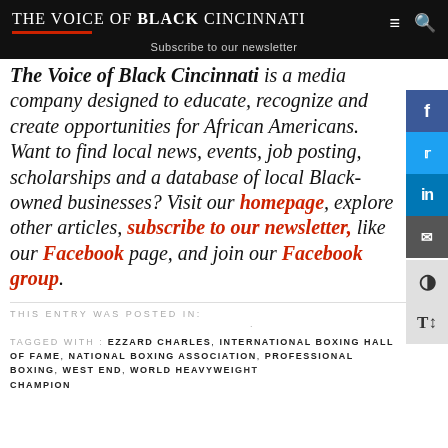The Voice of Black Cincinnati | Subscribe to our newsletter
The Voice of Black Cincinnati is a media company designed to educate, recognize and create opportunities for African Americans. Want to find local news, events, job posting, scholarships and a database of local Black-owned businesses? Visit our homepage, explore other articles, subscribe to our newsletter, like our Facebook page, and join our Facebook group.
THIS ENTRY WAS POSTED IN:
TAGGED WITH: EZZARD CHARLES, INTERNATIONAL BOXING HALL OF FAME, NATIONAL BOXING ASSOCIATION, PROFESSIONAL BOXING, WEST END, WORLD HEAVYWEIGHT CHAMPION